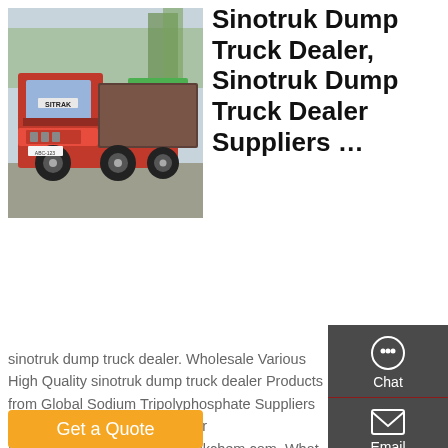[Figure (photo): Red Sinotruk dump truck parked outdoors with other trucks in background]
Sinotruk Dump Truck Dealer, Sinotruk Dump Truck Dealer Suppliers …
sinotruk dump truck dealer. Wholesale Various High Quality sinotruk dump truck dealer Products from Global Sodium Tripolyphosphate Suppliers and sinotruk dump truck dealer Factory,Importer,Exporter at Okchem.com. What you can get from us 1. Get the new
[Figure (infographic): Dark sidebar with Chat, Email, Contact, and Top navigation buttons with icons]
Get a Quote